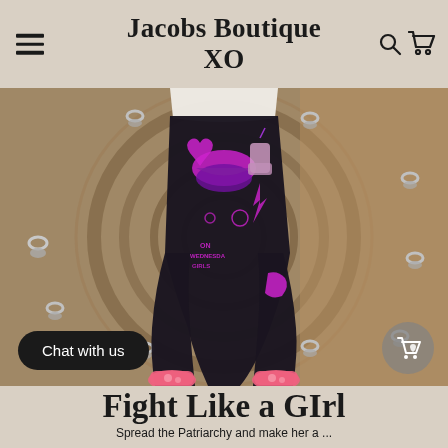Jacobs Boutique XO
[Figure (photo): Baby/toddler legs wearing black leggings with bright purple/magenta graphic print featuring lips, hearts, hands, and text motifs including 'On Wednesdays' and 'Girls', along with pink socks with floral pattern. The child is sitting on a woven rope rug with metal ring accents.]
Chat with us
Fight Like a GIrl
Spread the Patriarchy and make her a ...